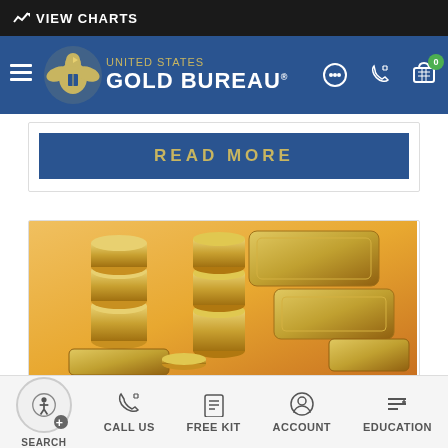VIEW CHARTS
[Figure (logo): United States Gold Bureau logo with eagle emblem, navigation bar with hamburger menu, chat icon, phone icon, and cart icon showing 0 items]
READ MORE
[Figure (photo): Stacked gold coins and gold bars/ingots on a golden background]
SEARCH   CALL US   FREE KIT   ACCOUNT   EDUCATION